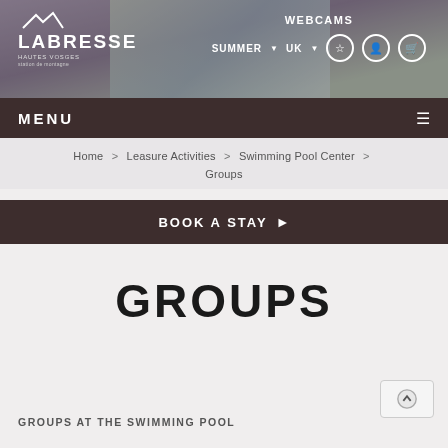[Figure (photo): Website screenshot header with Labresse Hautes Vosges logo and navigation bar showing WEBCAMS, SUMMER, UK links and icon buttons, with a background photo of a family in a swimming pool]
MENU
Home > Leasure Activities > Swimming Pool Center > Groups
BOOK A STAY ▶
GROUPS
GROUPS AT THE SWIMMING POOL